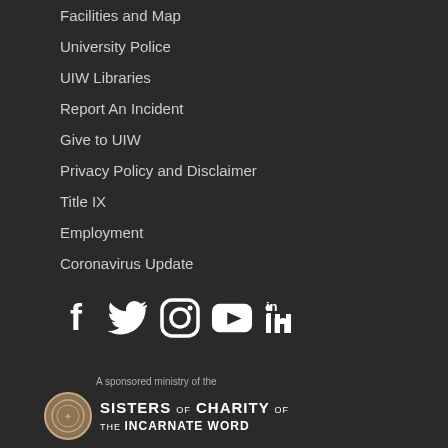Facilities and Map
University Police
UIW Libraries
Report An Incident
Give to UIW
Privacy Policy and Disclaimer
Title IX
Employment
Coronavirus Update
[Figure (infographic): Social media icons: Facebook, Twitter, Instagram, YouTube, LinkedIn]
A sponsored ministry of the
[Figure (logo): Sisters of Charity of the Incarnate Word logo with circular emblem]